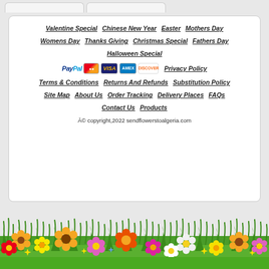Valentine Special | Chinese New Year | Easter | Mothers Day
Womens Day | Thanks Giving | Christmas Special | Fathers Day
Halloween Special
[Figure (logo): Payment method logos: PayPal, MasterCard, Visa, Amex, Discover]
Privacy Policy
Terms & Conditions | Returns And Refunds | Substitution Policy
Site Map | About Us | Order Tracking | Delivery Places | FAQs
Contact Us | Products
© copyright,2022 sendflowerstoalgeria.com
[Figure (illustration): Decorative floral border with colorful flowers and green grass at the bottom of the page]